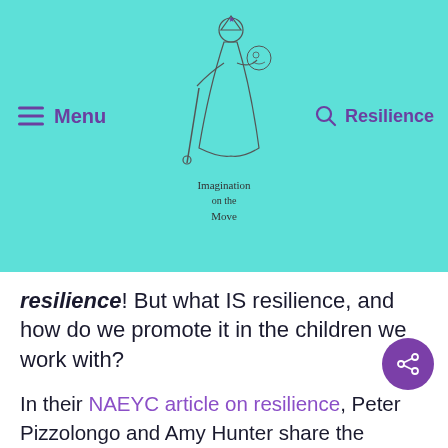Menu | Imagination on the Move | Resilience
resilience! But what IS resilience, and how do we promote it in the children we work with?
In their NAEYC article on resilience, Peter Pizzolongo and Amy Hunter share the American Psychological Association's definition of resilience as "the ability to adapt well to adversity, trauma, tragedy, threats, or even significant sources of stress." They mention research that identifies factors related to infant temperament, like